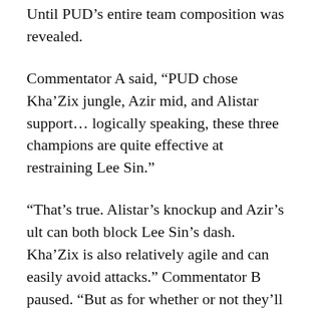Until PUD's entire team composition was revealed.
Commentator A said, “PUD chose Kha’Zix jungle, Azir mid, and Alistar support… logically speaking, these three champions are quite effective at restraining Lee Sin.”
“That’s true. Alistar’s knockup and Azir’s ult can both block Lee Sin’s dash. Kha’Zix is also relatively agile and can easily avoid attacks.” Commentator B paused. “But as for whether or not they’ll be able to restrain Lee Sin, we’ll only know after the game begins.”
The game officially started.